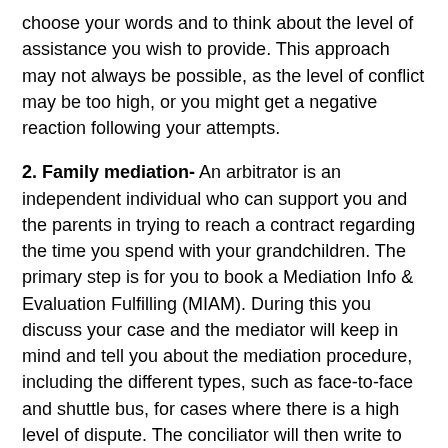choose your words and to think about the level of assistance you wish to provide. This approach may not always be possible, as the level of conflict may be too high, or you might get a negative reaction following your attempts.
2. Family mediation- An arbitrator is an independent individual who can support you and the parents in trying to reach a contract regarding the time you spend with your grandchildren. The primary step is for you to book a Mediation Info & Evaluation Fulfilling (MIAM). During this you discuss your case and the mediator will keep in mind and tell you about the mediation procedure, including the different types, such as face-to-face and shuttle bus, for cases where there is a high level of dispute. The conciliator will then write to the parent( s) inviting